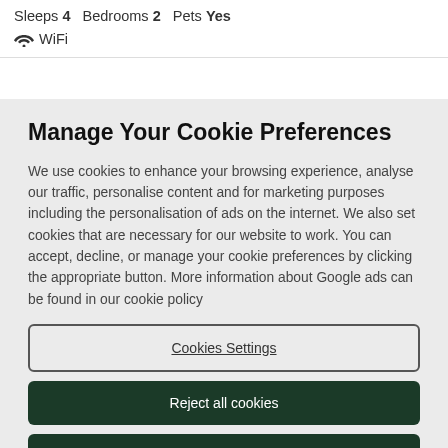Sleeps 4   Bedrooms 2   Pets Yes
WiFi
Manage Your Cookie Preferences
We use cookies to enhance your browsing experience, analyse our traffic, personalise content and for marketing purposes including the personalisation of ads on the internet. We also set cookies that are necessary for our website to work. You can accept, decline, or manage your cookie preferences by clicking the appropriate button. More information about Google ads can be found in our cookie policy
Cookies Settings
Reject all cookies
Accept all cookies